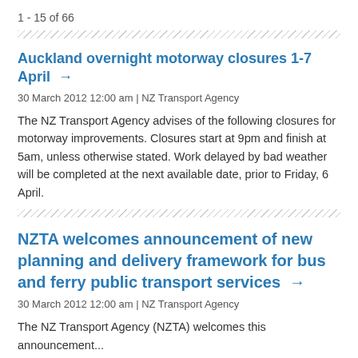1 - 15 of 66
Auckland overnight motorway closures 1-7 April →
30 March 2012 12:00 am | NZ Transport Agency
The NZ Transport Agency advises of the following closures for motorway improvements. Closures start at 9pm and finish at 5am, unless otherwise stated. Work delayed by bad weather will be completed at the next available date, prior to Friday, 6 April.
NZTA welcomes announcement of new planning and delivery framework for bus and ferry public transport services →
30 March 2012 12:00 am | NZ Transport Agency
The NZ Transport Agency (NZTA) welcomes this announcement...